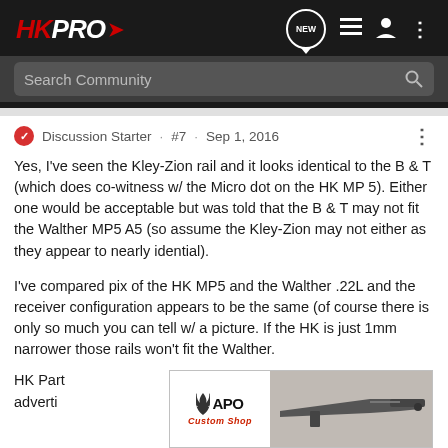HKPRO — Search Community
Discussion Starter · #7 · Sep 1, 2016
Yes, I've seen the Kley-Zion rail and it looks identical to the B & T (which does co-witness w/ the Micro dot on the HK MP 5). Either one would be acceptable but was told that the B & T may not fit the Walther MP5 A5 (so assume the Kley-Zion may not either as they appear to nearly idential).
I've compared pix of the HK MP5 and the Walther .22L and the receiver configuration appears to be the same (of course there is only so much you can tell w/ a picture. If the HK is just 1mm narrower those rails won't fit the Walther.
[Figure (photo): APO Custom Shop advertisement banner overlapping the bottom of the post, showing a firearm image on the right side]
HK Parts are advertise...